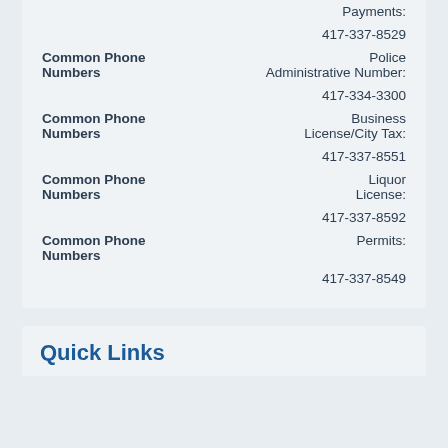| Category | Label | Phone Number |
| --- | --- | --- |
|  | Payments: | 417-337-8529 |
| Common Phone Numbers | Police Administrative Number: | 417-334-3300 |
| Common Phone Numbers | Business License/City Tax: | 417-337-8551 |
| Common Phone Numbers | Liquor License: | 417-337-8592 |
| Common Phone Numbers | Permits: | 417-337-8549 |
Quick Links